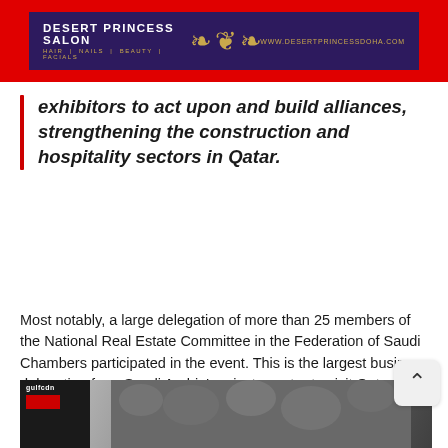[Figure (other): Desert Princess Salon advertisement banner on red background. Dark purple banner with salon name, ornamental gold design, and website URL www.desertprincessdoha.com]
exhibitors to act upon and build alliances, strengthening the construction and hospitality sectors in Qatar.
Most notably, a large delegation of more than 25 members of the National Real Estate Committee in the Federation of Saudi Chambers participated in the event. This is the largest business delegation from Saudi Arabia's private sector to visit Qatar since relations between the two countries returned to normalcy.
[Figure (photo): Interior photo of an exhibition hall or conference venue showing ceiling with circular light fixtures, with a dark panel on the left side showing a logo and red rectangle.]